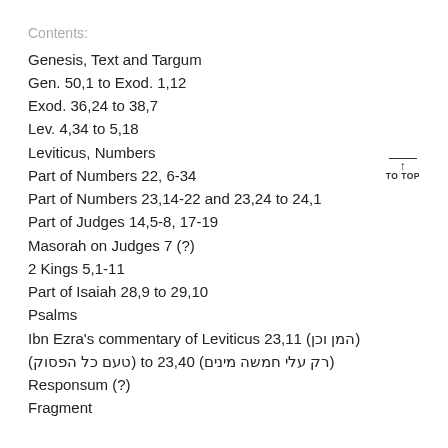Contents:
Genesis, Text and Targum
Gen. 50,1 to Exod. 1,12
Exod. 36,24 to 38,7
Lev. 4,34 to 5,18
Leviticus, Numbers
Part of Numbers 22, 6-34
Part of Numbers 23,14-22 and 23,24 to 24,1
Part of Judges 14,5-8, 17-19
Masorah on Judges 7 (?)
2 Kings 5,1-11
Part of Isaiah 28,9 to 29,10
Psalms
Ibn Ezra's commentary of Leviticus 23,11 (המן וכן) (טעם כל הפסוק) to 23,40 (רק עלי חמשה מינים)
Responsum (?)
Fragment